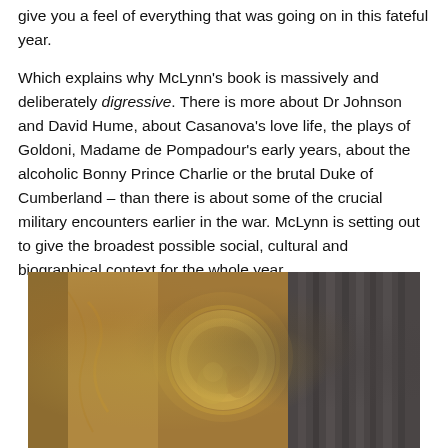give you a feel of everything that was going on in this fateful year.
Which explains why McLynn's book is massively and deliberately digressive. There is more about Dr Johnson and David Hume, about Casanova's love life, the plays of Goldoni, Madame de Pompadour's early years, about the alcoholic Bonny Prince Charlie or the brutal Duke of Cumberland – than there is about some of the crucial military encounters earlier in the war. McLynn is setting out to give the broadest possible social, cultural and biographical context for the whole year.
[Figure (photo): A painting or ornate interior scene showing gilded baroque decorative elements, a clock or medallion, cherub or sculptural figures, and dark curtain-like drapery on the right side, rendered in warm golden-brown and dark tones.]